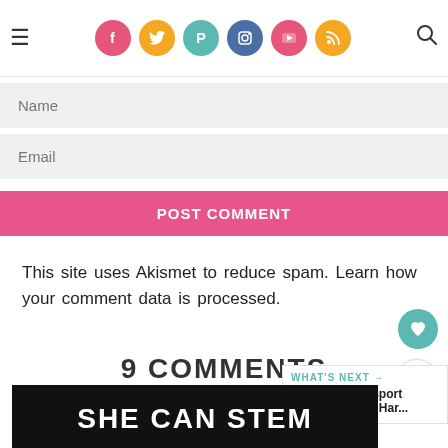Social media navigation icons and search
Name
Email
POST COMMENT
This site uses Akismet to reduce spam. Learn how your comment data is processed.
9 COMMENTS
Margaret says:
February 11, 2013 at 11:45 am
Thi...
[Figure (infographic): SHE CAN STEM advertisement banner, black background with white bold text]